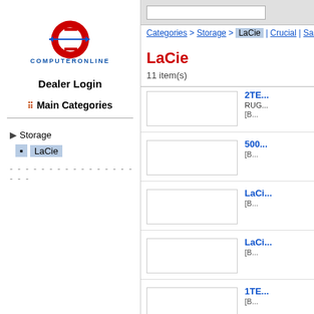[Figure (logo): ComputerOnline logo with red C and blue text]
Dealer Login
Main Categories
Storage
LaCie
Categories > Storage > LaCie | Crucial | Sam...
LaCie
11 item(s)
2TE... RUGG... [B...
500... [B...
LaCi... [B...
LaCi... [B...
1TE... [B...